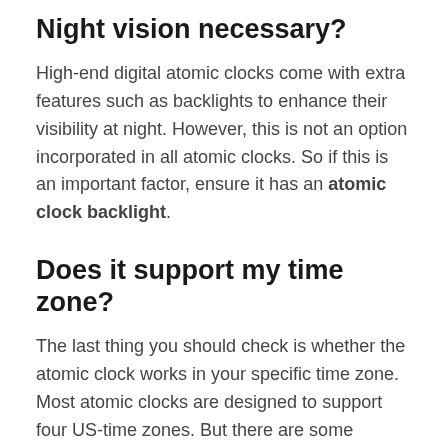Night vision necessary?
High-end digital atomic clocks come with extra features such as backlights to enhance their visibility at night. However, this is not an option incorporated in all atomic clocks. So if this is an important factor, ensure it has an atomic clock backlight.
Does it support my time zone?
The last thing you should check is whether the atomic clock works in your specific time zone. Most atomic clocks are designed to support four US-time zones. But there are some